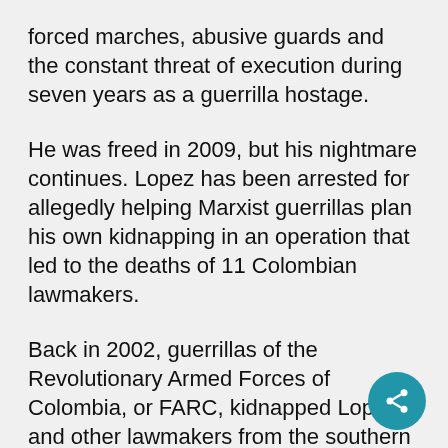forced marches, abusive guards and the constant threat of execution during seven years as a guerrilla hostage.
He was freed in 2009, but his nightmare continues. Lopez has been arrested for allegedly helping Marxist guerrillas plan his own kidnapping in an operation that led to the deaths of 11 Colombian lawmakers.
Back in 2002, guerrillas of the Revolutionary Armed Forces of Colombia, or FARC, kidnapped Lopez and other lawmakers from the southern city of Cali. FARC wanted to swap them for jailed guerrillas, but the Colombian government refused, so the hostages languished in the j
In 2007 FARC sidestep...